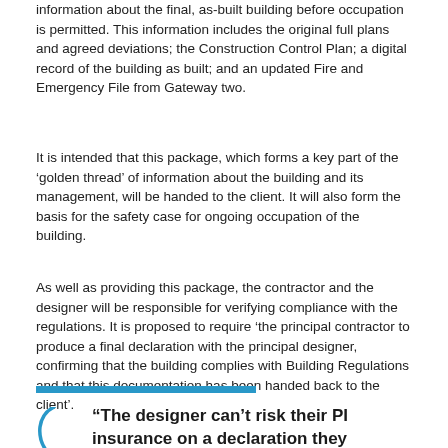information about the final, as-built building before occupation is permitted. This information includes the original full plans and agreed deviations; the Construction Control Plan; a digital record of the building as built; and an updated Fire and Emergency File from Gateway two.
It is intended that this package, which forms a key part of the 'golden thread' of information about the building and its management, will be handed to the client. It will also form the basis for the safety case for ongoing occupation of the building.
As well as providing this package, the contractor and the designer will be responsible for verifying compliance with the regulations. It is proposed to require 'the principal contractor to produce a final declaration with the principal designer, confirming that the building complies with Building Regulations and that this documentation has been handed back to the client'.
“The designer can’t risk their PI insurance on a declaration they